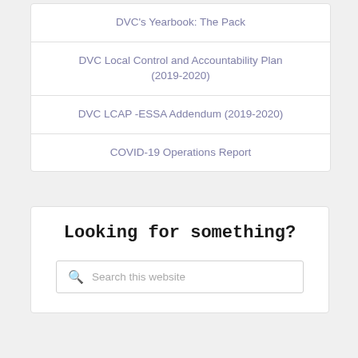DVC's Yearbook: The Pack
DVC Local Control and Accountability Plan (2019-2020)
DVC LCAP -ESSA Addendum (2019-2020)
COVID-19 Operations Report
Looking for something?
Search this website